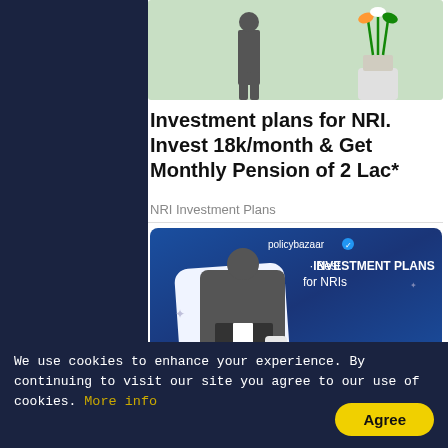[Figure (photo): Advertisement banner showing a person standing next to a plant with Indian flag colors, on a light green background]
Investment plans for NRI. Invest 18k/month & Get Monthly Pension of 2 Lac*
NRI Investment Plans
[Figure (photo): Policybazaar advertisement showing 'Best INVESTMENT PLANS for NRIs' with a man in a suit holding a smartphone, on a blue gradient background]
SIP Plan in India for NRIs - Invest
We use cookies to enhance your experience. By continuing to visit our site you agree to our use of cookies. More info